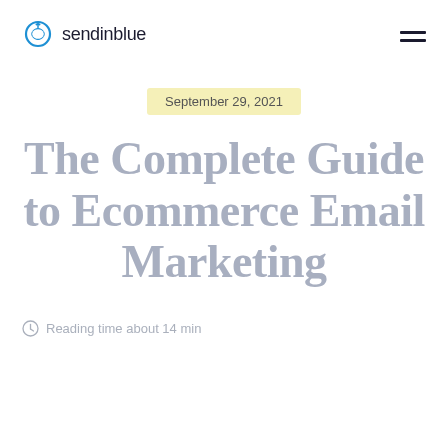sendinblue
September 29, 2021
The Complete Guide to Ecommerce Email Marketing
Reading time about 14 min